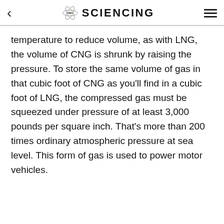SCIENCING
temperature to reduce volume, as with LNG, the volume of CNG is shrunk by raising the pressure. To store the same volume of gas in that cubic foot of CNG as you'll find in a cubic foot of LNG, the compressed gas must be squeezed under pressure of at least 3,000 pounds per square inch. That's more than 200 times ordinary atmospheric pressure at sea level. This form of gas is used to power motor vehicles.